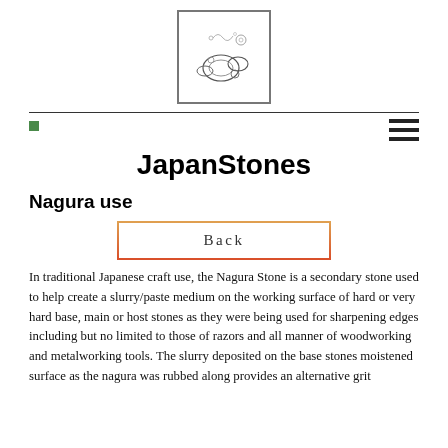[Figure (illustration): Logo illustration inside a square border showing stones/rocks with decorative elements]
JapanStones
Nagura use
Back
In traditional Japanese craft use, the Nagura Stone is a secondary stone used to help create a slurry/paste medium on the working surface of hard or very hard base, main or host stones as they were being used for sharpening edges including but no limited to those of razors and all manner of woodworking and metalworking tools. The slurry deposited on the base stones moistened surface as the nagura was rubbed along provides an alternative grit